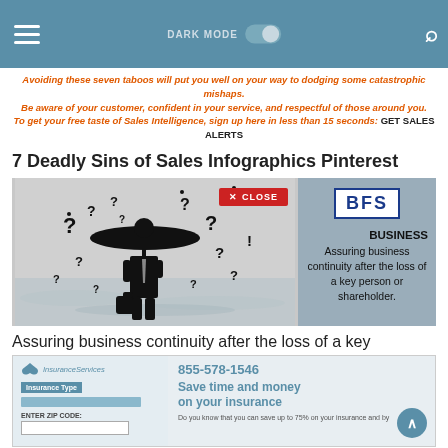DARK MODE [toggle] [search]
Avoiding these seven taboos will put you well on your way to dodging some catastrophic mishaps. Be aware of your customer, confident in your service, and respectful of those around you. To get your free taste of Sales Intelligence, sign up here in less than 15 seconds: GET SALES ALERTS
7 Deadly Sins of Sales Infographics Pinterest
[Figure (illustration): Silhouette of a businessman holding umbrella and briefcase surrounded by question marks, with a red CLOSE button overlay. Right panel shows BFS logo with text: BUSINESS - Assuring business continuity after the loss of a key person or shareholder.]
Assuring business continuity after the loss of a key
[Figure (screenshot): Insurance website screenshot showing InsuranceServices logo, phone number 855-578-1546, Insurance Type field, ENTER ZIP CODE field, and text 'Save time and money on your insurance']